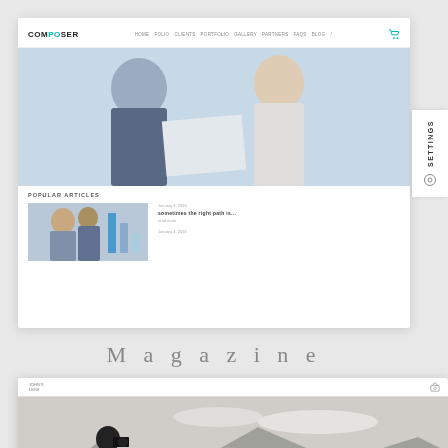[Figure (screenshot): Magazine website template screenshot showing COMPOSER logo navigation, hero image of two people collaborating, and Popular Articles section below]
Magazine
[Figure (screenshot): Photography website template screenshot showing John's Photography with black and white hero image of photographer shooting, welcome text, and View Portfolio button]